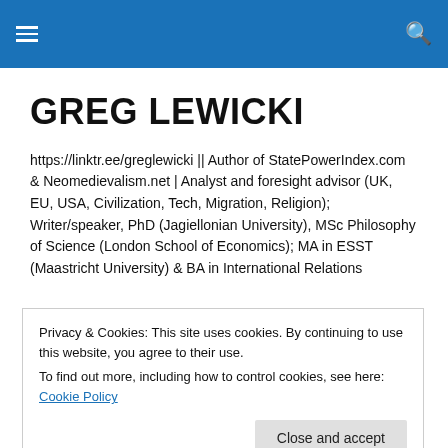navigation header with hamburger menu and search icon
GREG LEWICKI
https://linktr.ee/greglewicki || Author of StatePowerIndex.com & Neomedievalism.net | Analyst and foresight advisor (UK, EU, USA, Civilization, Tech, Migration, Religion); Writer/speaker, PhD (Jagiellonian University), MSc Philosophy of Science (London School of Economics); MA in ESST (Maastricht University) & BA in International Relations
In Polish
Privacy & Cookies: This site uses cookies. By continuing to use this website, you agree to their use.
To find out more, including how to control cookies, see here: Cookie Policy
Close and accept
[Figure (photo): Partially visible book cover at the bottom of the page]